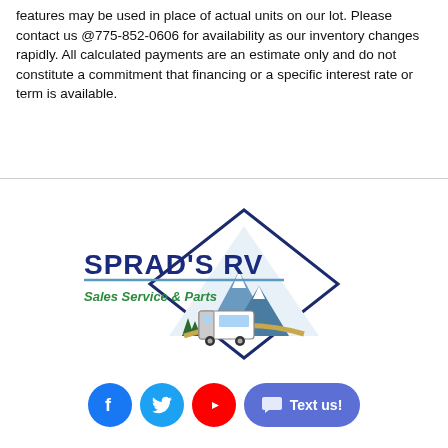features may be used in place of actual units on our lot. Please contact us @775-852-0606 for availability as our inventory changes rapidly. All calculated payments are an estimate only and do not constitute a commitment that financing or a specific interest rate or term is available.
[Figure (logo): Sprad's RV Sales Service & Parts logo with mountain and RV illustration inside a diamond shape]
[Figure (infographic): Social media icons: Facebook (blue circle with f), Twitter (blue circle with bird), YouTube (red circle with play button), and a blue 'Text us!' button with chat icon]